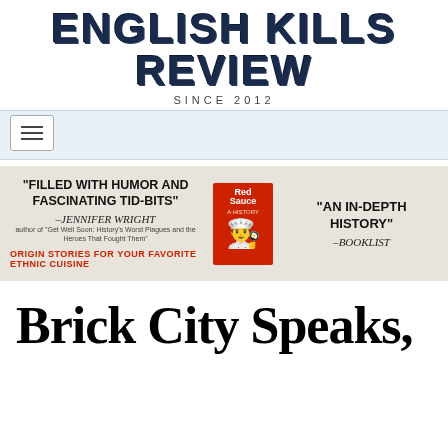ENGLISH KILLS REVIEW
SINCE 2012
[Figure (other): Navigation hamburger menu button on light blue nav bar]
[Figure (other): Advertisement banner for 'Red Sauce' book with quotes: 'FILLED WITH HUMOR AND FASCINATING TID-BITS' –JENNIFER WRIGHT, author of 'Get Well Soon: History's Worst Plagues and the Heroes That Fought Them', 'AN IN-DEPTH HISTORY' –BOOKLIST, ORIGIN STORIES FOR YOUR FAVORITE ETHNIC CUISINE]
Brick City Speaks,